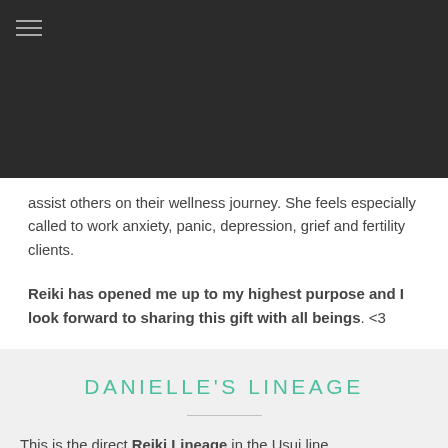[navigation header with menu icon]
assist others on their wellness journey. She feels especially called to work anxiety, panic, depression, grief and fertility clients.
Reiki has opened me up to my highest purpose and I look forward to sharing this gift with all beings. <3
DANIELLE'S LINEAGE
This is the direct Reiki Lineage in the Usui line.